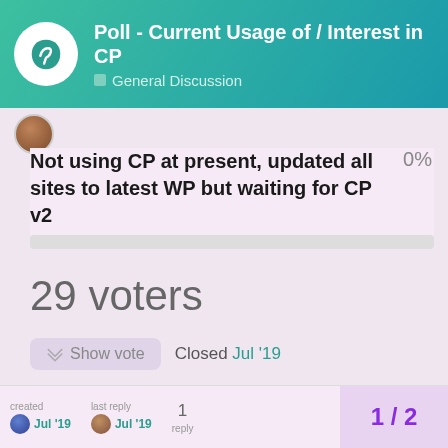Poll - Current Usage of / Interest in CP | General Discussion
Not using CP at present, updated all sites to latest WP but waiting for CP v2   0%
29 voters
Show vote   Closed Jul '19
1
How many CP installs?
created Jul '19   last reply Jul '19   1 reply   1 / 2